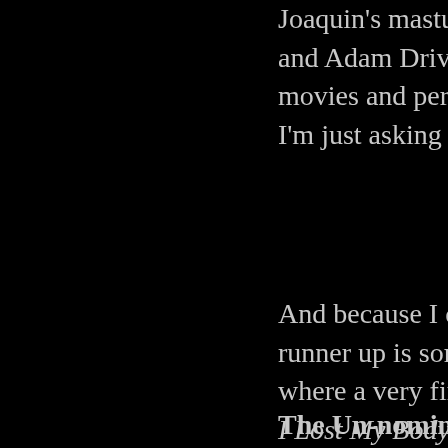Joaquin's masturbatory ACTOR exhibitionism and Adam Driver put up in their films. The movies and performances this year were... I'm just asking questions.
And because I can't confidently say a runner up is somewhat of a cop out. I know where a very fine Toy Story 4 beat out I Lost My Body. People give Up credit we've ever seen in an animated film, money. Eight minutes into the film, th minute clinic on creating visceral nos the movie is great, but there's a powe with me for the rest of my life (It's on
The Un-nominated: Well since we'v